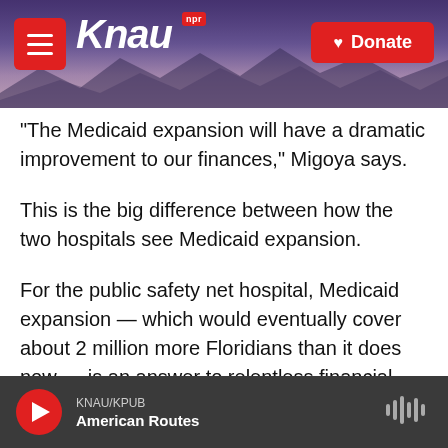KNAU NPR — Donate
"The Medicaid expansion will have a dramatic improvement to our finances," Migoya says.
This is the big difference between how the two hospitals see Medicaid expansion.
For the public safety net hospital, Medicaid expansion — which would eventually cover about 2 million more Floridians than it does now — is an answer to relentless financial problems.
For the university-backed health system, Medicaid
KNAU/KPUB American Routes